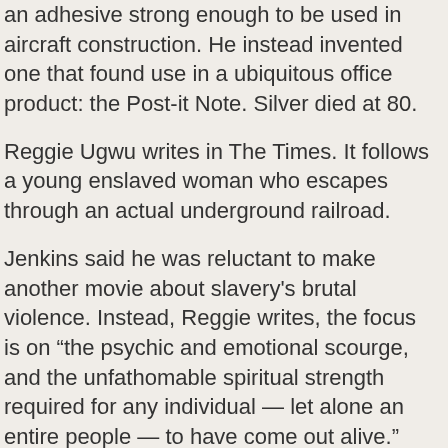an adhesive strong enough to be used in aircraft construction. He instead invented one that found use in a ubiquitous office product: the Post-it Note. Silver died at 80.
Reggie Ugwu writes in The Times. It follows a young enslaved woman who escapes through an actual underground railroad.
Jenkins said he was reluctant to make another movie about slavery's brutal violence. Instead, Reggie writes, the focus is on “the psychic and emotional scourge, and the unfathomable spiritual strength required for any individual — let alone an entire people — to have come out alive.”
James Poniewozik, The Times’s chief television critic, hails the show as a “stirring, full-feeling, technically and artistically and morally potent work.” — Tom Wright-Piersanti, Morning …